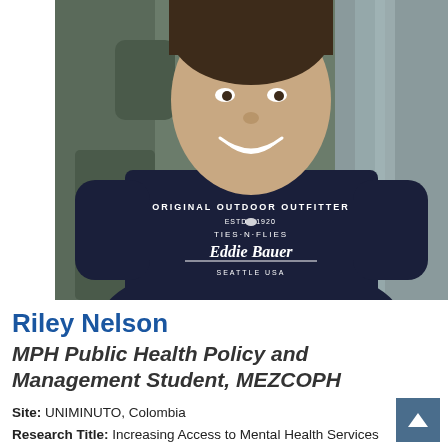[Figure (photo): Portrait photo of Riley Nelson, a young man smiling, wearing a dark navy Eddie Bauer t-shirt that reads 'Original Outdoor Outfitter, Ties-N-Flies, Eddie Bauer, Seattle USA', with a rocky waterfall background.]
Riley Nelson
MPH Public Health Policy and Management Student, MEZCOPH
Site: UNIMINUTO, Colombia
Research Title: Increasing Access to Mental Health Services
Funding: Tinker Field Research Grant...